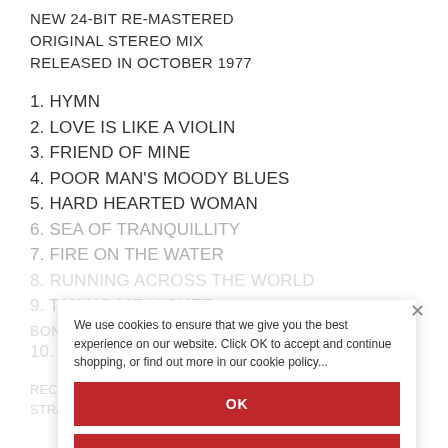NEW 24-BIT RE-MASTERED
ORIGINAL STEREO MIX
RELEASED IN OCTOBER 1977
1. HYMN
2. LOVE IS LIKE A VIOLIN
3. FRIEND OF MINE
4. POOR MAN'S MOODY BLUES
5. HARD HEARTED WOMAN
6. SEA OF TRANQUILLITY
7. FIRE ON THE WATER
8. RUNNING ACROSS THE WORLD
9. TAKING ME HIGHER
BONUS TRACKS
10. ...
RECORDED AT:
STRAWBERRY STUDIOS 1977
We use cookies to ensure that we give you the best experience on our website. Click OK to accept and continue shopping, or find out more in our cookie policy...
OK
READ MORE